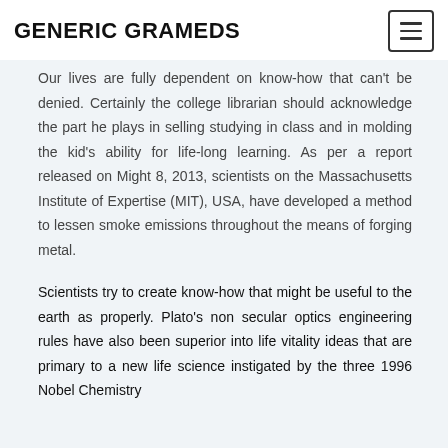GENERIC GRAMEDS
Our lives are fully dependent on know-how that can't be denied. Certainly the college librarian should acknowledge the part he plays in selling studying in class and in molding the kid's ability for life-long learning. As per a report released on Might 8, 2013, scientists on the Massachusetts Institute of Expertise (MIT), USA, have developed a method to lessen smoke emissions throughout the means of forging metal.
Scientists try to create know-how that might be useful to the earth as properly. Plato's non secular optics engineering rules have also been superior into life vitality ideas that are primary to a new life science instigated by the three 1996 Nobel Chemistry laureates.